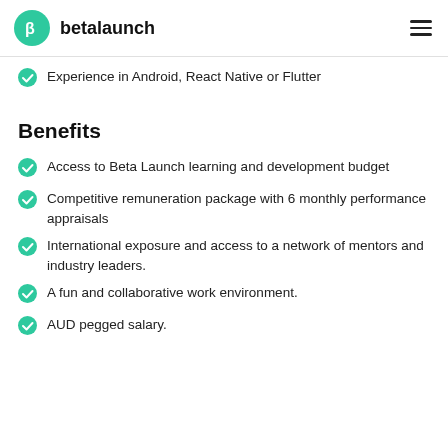betalaunch
Experience in Android, React Native or Flutter
Benefits
Access to Beta Launch learning and development budget
Competitive remuneration package with 6 monthly performance appraisals
International exposure and access to a network of mentors and industry leaders.
A fun and collaborative work environment.
AUD pegged salary.